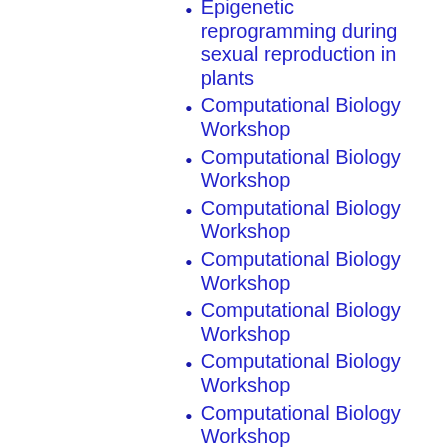Epigenetic reprogramming during sexual reproduction in plants
Computational Biology Workshop
Computational Biology Workshop
Computational Biology Workshop
Computational Biology Workshop
Computational Biology Workshop
Computational Biology Workshop
Computational Biology Workshop
Computational Biology Workshop
Computational Biology Workshop
Computational Biology Workshop
Computational Biology Workshop